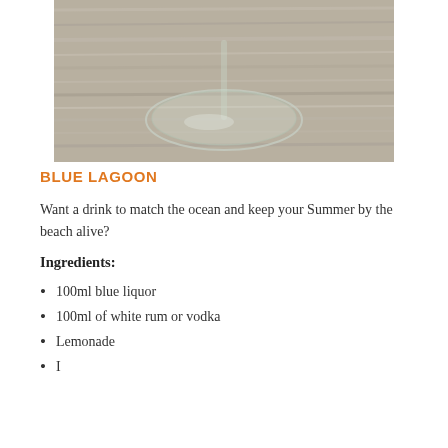[Figure (photo): A martini or cocktail glass stem and base resting on a weathered wooden surface, viewed from above]
BLUE LAGOON
Want a drink to match the ocean and keep your Summer by the beach alive?
Ingredients:
100ml blue liquor
100ml of white rum or vodka
Lemonade
Ice